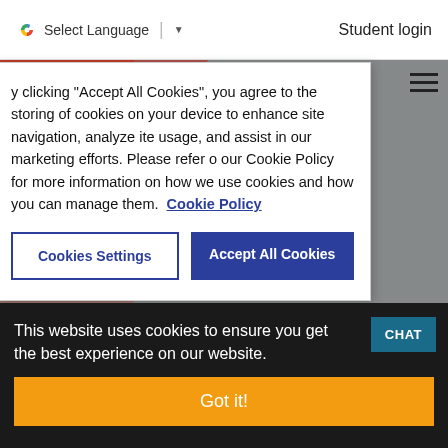Select Language | Student login
By clicking “Accept All Cookies”, you agree to the storing of cookies on your device to enhance site navigation, analyze site usage, and assist in our marketing efforts. Please refer to our Cookie Policy for more information on how we use cookies and how you can manage them. Cookie Policy
Cookies Settings | Accept All Cookies
This website uses cookies to ensure you get the best experience on our website.
Got it!